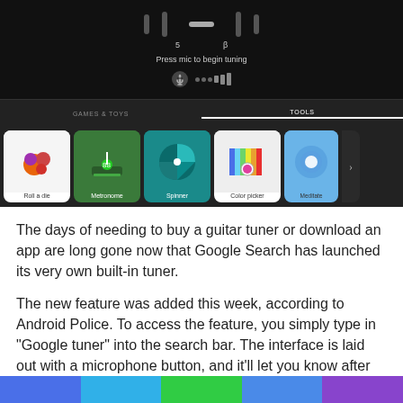[Figure (screenshot): Screenshot of Google Search built-in tools interface showing a guitar tuner at the top with 'Press mic to begin tuning' text, and a row of app cards including Roll a die, Metronome, Spinner, Color picker, and Meditate under GAMES & TOYS / TOOLS tabs.]
The days of needing to buy a guitar tuner or download an app are long gone now that Google Search has launched its very own built-in tuner.
The new feature was added this week, according to Android Police. To access the feature, you simply type in “Google tuner” into the search bar. The interface is laid out with a microphone button, and it’ll let you know after strumming a